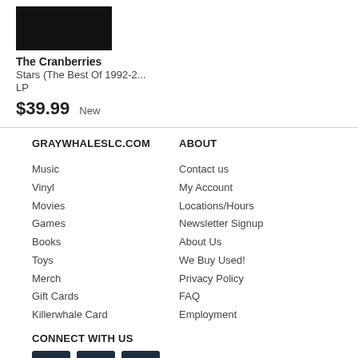[Figure (photo): Dark product thumbnail image for The Cranberries LP]
The Cranberries
Stars (The Best Of 1992-2...
LP
$39.99  New
GRAYWHALESLC.COM
ABOUT
Music
Vinyl
Movies
Games
Books
Toys
Merch
Gift Cards
Killerwhale Card
Contact us
My Account
Locations/Hours
Newsletter Signup
About Us
We Buy Used!
Privacy Policy
FAQ
Employment
CONNECT WITH US
[Figure (other): Social media icons: Facebook, Twitter, Google+]
Find Stuff
powered by